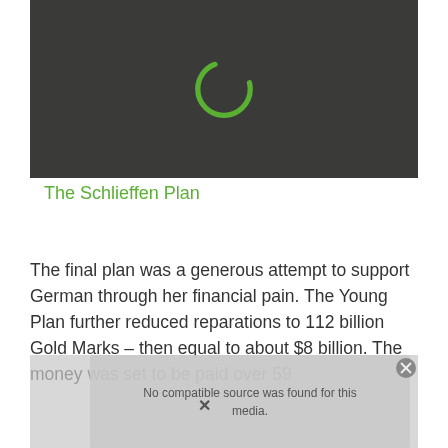[Figure (screenshot): Dark gray video player placeholder with a green spinning circle/loading indicator in the center, indicating a video is loading or unavailable.]
The Schlieffen Plan
The final plan was a generous attempt to support German through her financial pain. The Young Plan further reduced reparations to 112 billion Gold Marks – then equal to about $8 billion. The money was set to be paid over 59
[Figure (screenshot): Partially visible video player overlay showing 'No compatible source was found for this media.' error message over a gray background with faint photographic imagery and an X close button.]